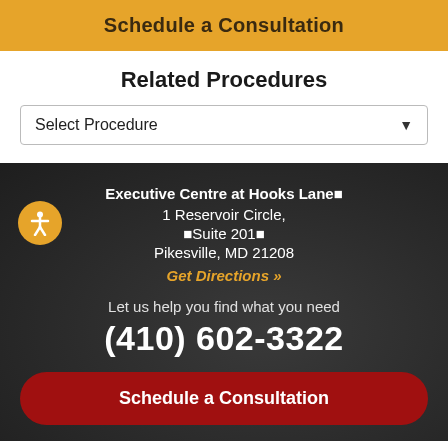Schedule a Consultation
Related Procedures
Select Procedure
Executive Centre at Hooks Lane
1 Reservoir Circle,
 Suite 201 
Pikesville, MD 21208
Get Directions »
Let us help you find what you need
(410) 602-3322
Schedule a Consultation